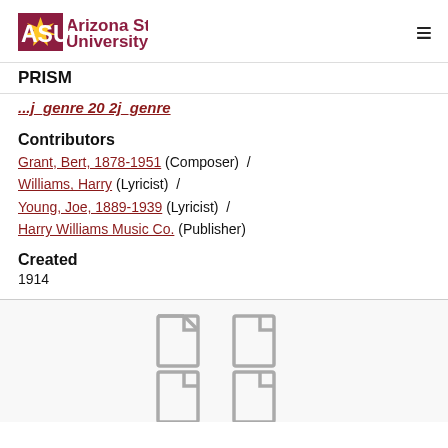Arizona State University PRISM
...j_genre 20 2j_genre (partially visible breadcrumb link)
Contributors
Grant, Bert, 1878-1951 (Composer) / Williams, Harry (Lyricist) / Young, Joe, 1889-1939 (Lyricist) / Harry Williams Music Co. (Publisher)
Created
1914
[Figure (illustration): Four document/file icons arranged in a 2x2 grid, shown in gray outline style]